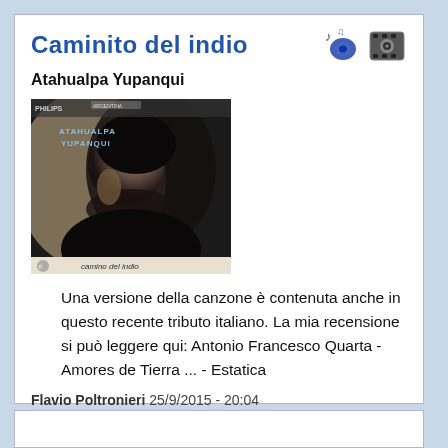Caminito del indio
Atahualpa Yupanqui
[Figure (photo): Album cover of Atahualpa Yupanqui - Caminito del indio, showing a black and white close-up portrait of a man with text 'ATAHUALPA YUPANQUI' and 'camino del indio' at the bottom]
Una versione della canzone è contenuta anche in questo recente tributo italiano. La mia recensione si può leggere qui: Antonio Francesco Quarta - Amores de Tierra ... - Estatica
Flavio Poltronieri 25/9/2015 - 20:04